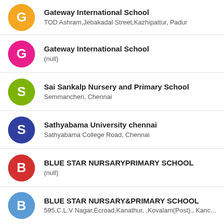Gateway International School
TOD Ashram,Jebakadal Street,Kazhipattur, Padur
Gateway International School
(null)
Sai Sankalp Nursery and Primary School
Semmancheri, Chennai
Sathyabama University chennai
Sathyabama College Road, Chennai
BLUE STAR NURSARYPRIMARY SCHOOL
(null)
BLUE STAR NURSARY&PRIMARY SCHOOL
595,C.L.V Nagar,Ecroad,Kanathur, ,Kovalam(Post)., Kanc...